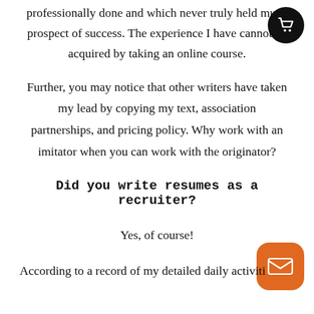professionally done and which never truly held much prospect of success. The experience I have cannot be acquired by taking an online course.
Further, you may notice that other writers have taken my lead by copying my text, association partnerships, and pricing policy. Why work with an imitator when you can work with the originator?
Did you write resumes as a recruiter?
Yes, of course!
According to a record of my detailed daily activities,